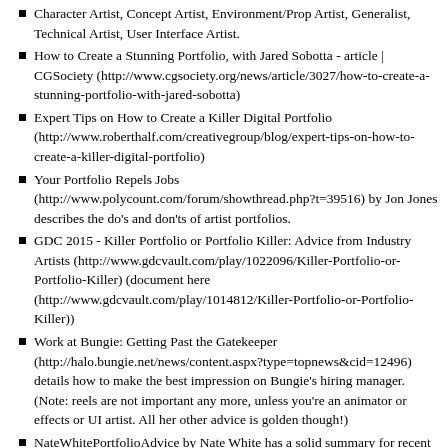Character Artist, Concept Artist, Environment/Prop Artist, Generalist, Technical Artist, User Interface Artist.
How to Create a Stunning Portfolio, with Jared Sobotta - article | CGSociety (http://www.cgsociety.org/news/article/3027/how-to-create-a-stunning-portfolio-with-jared-sobotta)
Expert Tips on How to Create a Killer Digital Portfolio (http://www.roberthalf.com/creativegroup/blog/expert-tips-on-how-to-create-a-killer-digital-portfolio)
Your Portfolio Repels Jobs (http://www.polycount.com/forum/showthread.php?t=39516) by Jon Jones describes the do's and don'ts of artist portfolios.
GDC 2015 - Killer Portfolio or Portfolio Killer: Advice from Industry Artists (http://www.gdcvault.com/play/1022096/Killer-Portfolio-or-Portfolio-Killer) (document here (http://www.gdcvault.com/play/1014812/Killer-Portfolio-or-Portfolio-Killer))
Work at Bungie: Getting Past the Gatekeeper (http://halo.bungie.net/news/content.aspx?type=topnews&cid=12496) details how to make the best impression on Bungie's hiring manager. (Note: reels are not important any more, unless you're an animator or effects or UI artist. All her other advice is golden though!)
NateWhitePortfolioAdvice by Nate White has a solid summary for recent graduates about what their portfolios need.
What should be in your portfolio?